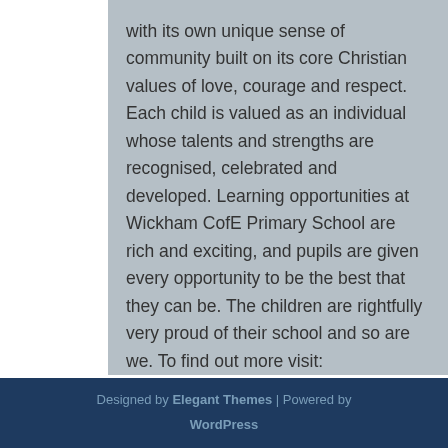with its own unique sense of community built on its core Christian values of love, courage and respect. Each child is valued as an individual whose talents and strengths are recognised, celebrated and developed. Learning opportunities at Wickham CofE Primary School are rich and exciting, and pupils are given every opportunity to be the best that they can be. The children are rightfully very proud of their school and so are we. To find out more visit: https://www.wickham-primary.co.uk/
Designed by Elegant Themes | Powered by WordPress